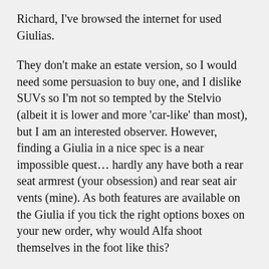Richard, I've browsed the internet for used Giulias.
They don't make an estate version, so I would need some persuasion to buy one, and I dislike SUVs so I'm not so tempted by the Stelvio (albeit it is lower and more 'car-like' than most), but I am an interested observer. However, finding a Giulia in a nice spec is a near impossible quest… hardly any have both a rear seat armrest (your obsession) and rear seat air vents (mine). As both features are available on the Giulia if you tick the right options boxes on your new order, why would Alfa shoot themselves in the foot like this?